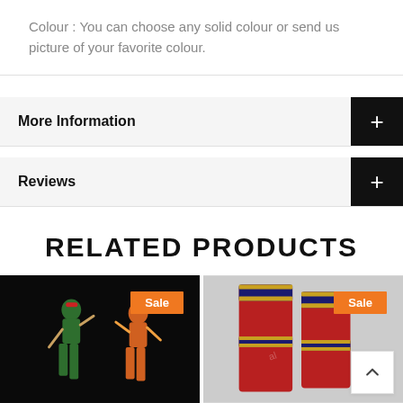Colour : You can choose any solid colour or send us picture of your favorite colour.
More Information
Reviews
RELATED PRODUCTS
[Figure (photo): Two female dancers in colorful Indian classical dance costumes performing on a dark stage. A Sale badge is shown in orange in the top right corner.]
[Figure (photo): Red Indian classical dance costume with blue and gold trim displayed on a hanger or mannequin. A Sale badge is shown in orange in the top right corner.]